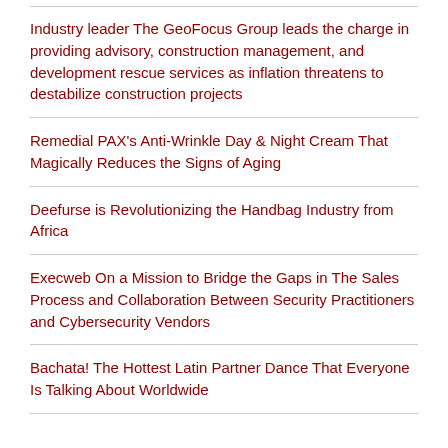Industry leader The GeoFocus Group leads the charge in providing advisory, construction management, and development rescue services as inflation threatens to destabilize construction projects
Remedial PAX's Anti-Wrinkle Day & Night Cream That Magically Reduces the Signs of Aging
Deefurse is Revolutionizing the Handbag Industry from Africa
Execweb On a Mission to Bridge the Gaps in The Sales Process and Collaboration Between Security Practitioners and Cybersecurity Vendors
Bachata! The Hottest Latin Partner Dance That Everyone Is Talking About Worldwide